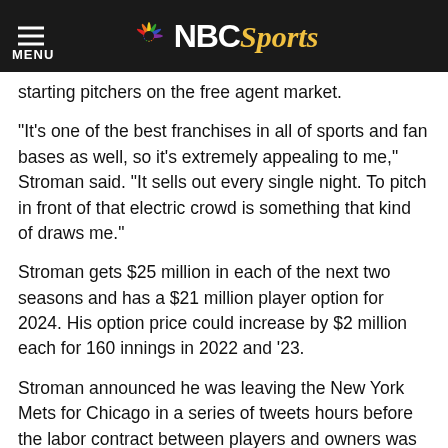[Figure (logo): NBC Sports logo with peacock icon, hamburger menu and MENU label on dark header bar]
starting pitchers on the free agent market.
“It’s one of the best franchises in all of sports and fan bases as well, so it’s extremely appealing to me,” Stroman said. “It sells out every single night. To pitch in front of that electric crowd is something that kind of draws me.”
Stroman gets $25 million in each of the next two seasons and has a $21 million player option for 2024. His option price could increase by $2 million each for 160 innings in 2022 and ’23.
Stroman announced he was leaving the New York Mets for Chicago in a series of tweets hours before the labor contract between players and owners was set to expire. The Cubs later confirmed the deal.